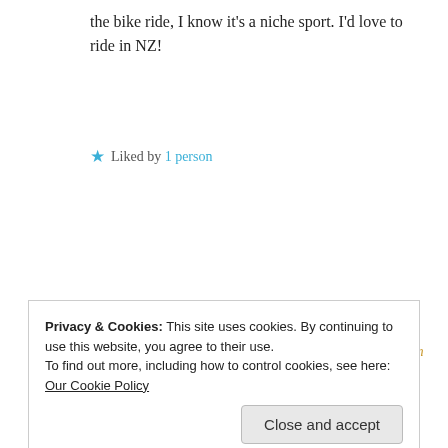the bike ride, I know it's a niche sport. I'd love to ride in NZ!
★ Liked by 1 person
REPLY
SU LESLIE
August 31, 2017 at 1:59 pm
Privacy & Cookies: This site uses cookies. By continuing to use this website, you agree to their use.
To find out more, including how to control cookies, see here: Our Cookie Policy
Close and accept